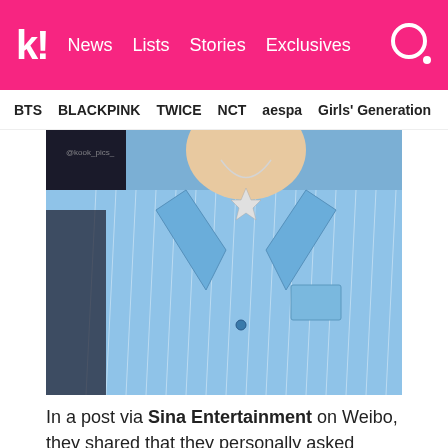k! News  Lists  Stories  Exclusives
BTS  BLACKPINK  TWICE  NCT  aespa  Girls' Generation
[Figure (photo): Close-up photo of a person wearing a blue pinstripe shirt with a silver crown/star necklace, against a dark background.]
In a post via Sina Entertainment on Weibo, they shared that they personally asked Jackson's agency, Team Wang, for verification